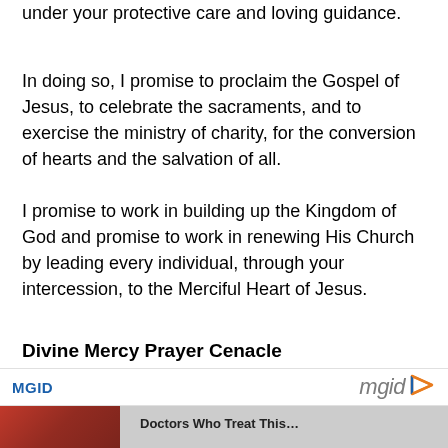under your protective care and loving guidance.
In doing so, I promise to proclaim the Gospel of Jesus, to celebrate the sacraments, and to exercise the ministry of charity, for the conversion of hearts and the salvation of all.
I promise to work in building up the Kingdom of God and promise to work in renewing His Church by leading every individual, through your intercession, to the Merciful Heart of Jesus.
Divine Mercy Prayer Cenacle
Outline (Part 3 Optional)
MGID  mgid ▷